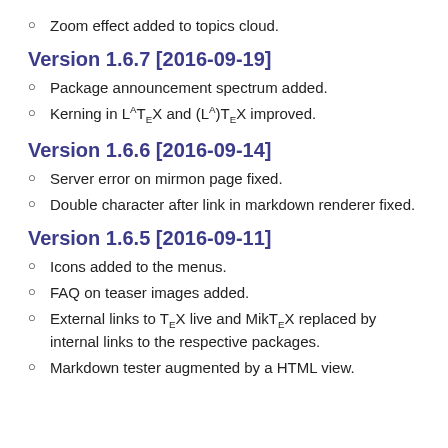Zoom effect added to topics cloud.
Version 1.6.7 [2016-09-19]
Package announcement spectrum added.
Kerning in LaTeX and (LA)TeX improved.
Version 1.6.6 [2016-09-14]
Server error on mirmon page fixed.
Double character after link in markdown renderer fixed.
Version 1.6.5 [2016-09-11]
Icons added to the menus.
FAQ on teaser images added.
External links to TeX live and MikTeX replaced by internal links to the respective packages.
Markdown tester augmented by a HTML view.